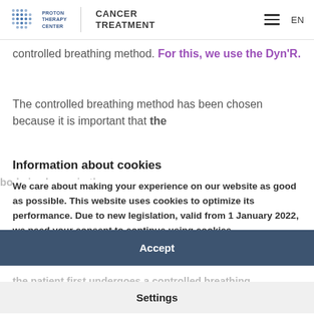PROTON THERAPY CENTER | CANCER TREATMENT | EN
controlled breathing method. For this, we use the Dyn'R.
The controlled breathing method has been chosen because it is important that the irradiated area of the body and the target volume of the tumor are irradiated the same way during each irradiation. Since this irradiated body is always in the same position. This is best done by holding their breath at a certain level. To determine this level, the patient first undergoes a controlled breathing training (Dyn'R training).
Information about cookies
We care about making your experience on our website as good as possible. This website uses cookies to optimize its performance. Due to new legislation, valid from 1 January 2022, we need your consent to continue using cookies.
Accept
Settings